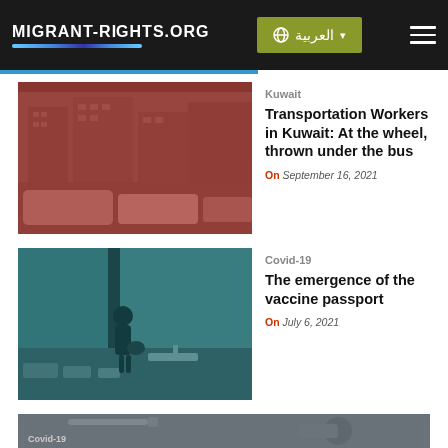MIGRANT-RIGHTS.ORG — العربية navigation header
[Figure (photo): City buildings with taxis in foreground, red color overlay — article image for Kuwait transportation workers story]
Kuwait
Transportation Workers in Kuwait: At the wheel, thrown under the bus
On September 16, 2021
[Figure (photo): Person standing at airport window looking at tarmac, teal/blue color overlay — article image for vaccine passport story]
Covid-19
The emergence of the vaccine passport
On July 6, 2021
[Figure (photo): Close-up of syringe and medical vial, gray/blue overlay — partial article image for Covid-19 story]